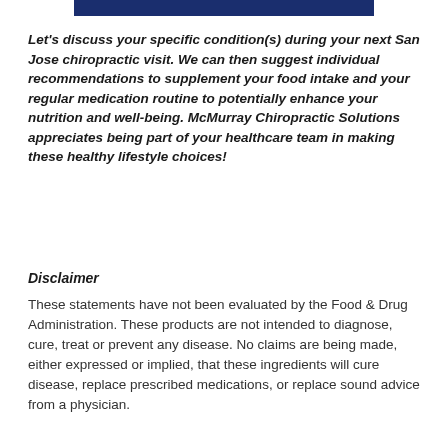[Figure (other): Dark navy blue banner/header bar at top of page]
Let's discuss your specific condition(s) during your next San Jose chiropractic visit. We can then suggest individual recommendations to supplement your food intake and your regular medication routine to potentially enhance your nutrition and well-being. McMurray Chiropractic Solutions appreciates being part of your healthcare team in making these healthy lifestyle choices!
Disclaimer
These statements have not been evaluated by the Food & Drug Administration. These products are not intended to diagnose, cure, treat or prevent any disease. No claims are being made, either expressed or implied, that these ingredients will cure disease, replace prescribed medications, or replace sound advice from a physician.